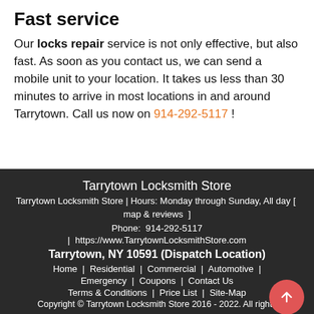Fast service
Our locks repair service is not only effective, but also fast. As soon as you contact us, we can send a mobile unit to your location. It takes us less than 30 minutes to arrive in most locations in and around Tarrytown. Call us now on 914-292-5117 !
Tarrytown Locksmith Store
Tarrytown Locksmith Store | Hours: Monday through Sunday, All day [ map & reviews ]
Phone: 914-292-5117
| https://www.TarrytownLocksmithStore.com
Tarrytown, NY 10591 (Dispatch Location)
Home | Residential | Commercial | Automotive | Emergency | Coupons | Contact Us
Terms & Conditions | Price List | Site-Map
Copyright © Tarrytown Locksmith Store 2016 - 2022. All rights